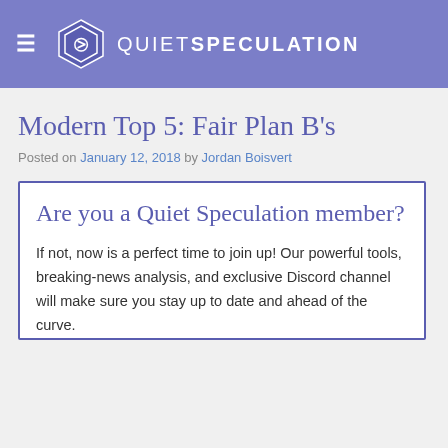QUIET SPECULATION
Modern Top 5: Fair Plan B's
Posted on January 12, 2018 by Jordan Boisvert
Are you a Quiet Speculation member?
If not, now is a perfect time to join up! Our powerful tools, breaking-news analysis, and exclusive Discord channel will make sure you stay up to date and ahead of the curve.